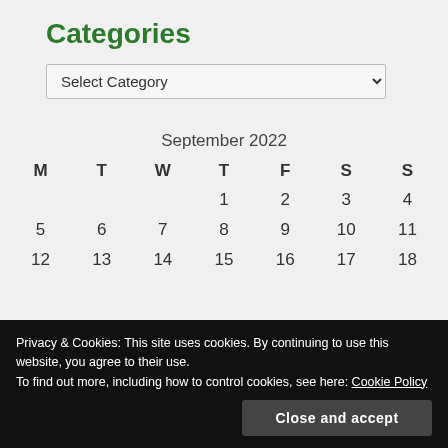Categories
Select Category
| M | T | W | T | F | S | S |
| --- | --- | --- | --- | --- | --- | --- |
|  |  |  | 1 | 2 | 3 | 4 |
| 5 | 6 | 7 | 8 | 9 | 10 | 11 |
| 12 | 13 | 14 | 15 | 16 | 17 | 18 |
Privacy & Cookies: This site uses cookies. By continuing to use this website, you agree to their use.
To find out more, including how to control cookies, see here: Cookie Policy
Close and accept